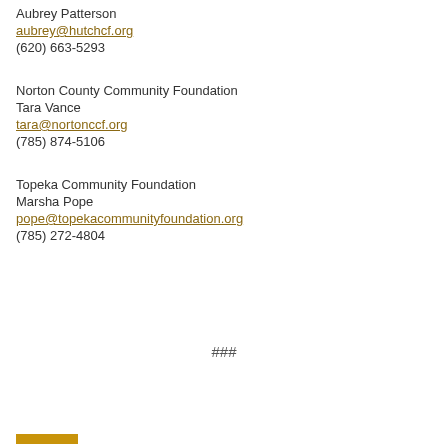Aubrey Patterson
aubrey@hutchcf.org
(620) 663-5293
Norton County Community Foundation
Tara Vance
tara@nortonccf.org
(785) 874-5106
Topeka Community Foundation
Marsha Pope
pope@topekacommunityfoundation.org
(785) 272-4804
###